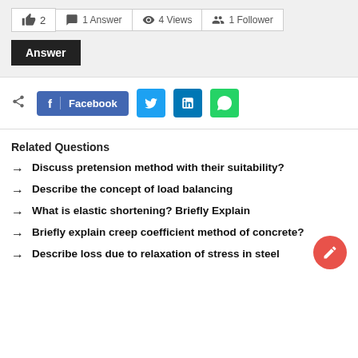2  1 Answer  4 Views  1 Follower
Answer
[Figure (infographic): Social share buttons: Facebook, Twitter, LinkedIn, WhatsApp]
Related Questions
Discuss pretension method with their suitability?
Describe the concept of load balancing
What is elastic shortening? Briefly Explain
Briefly explain creep coefficient method of concrete?
Describe loss due to relaxation of stress in steel